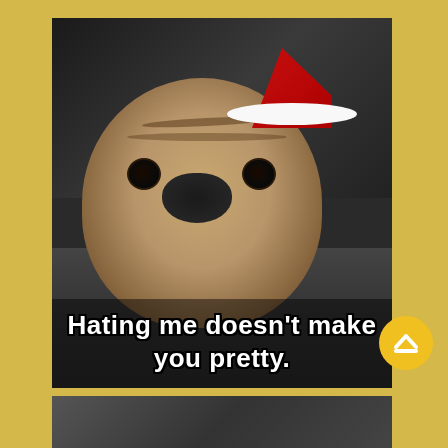[Figure (photo): A pug dog wearing a Santa hat lying on a dark floor, looking at the camera with a grumpy expression. The meme text reads: 'Hating me doesn't make you pretty.' A gold circular upvote button appears in the bottom-right corner of the image.]
[Figure (photo): Partial view of a second image peeking from the bottom of the page, showing a dark/shadowy scene.]